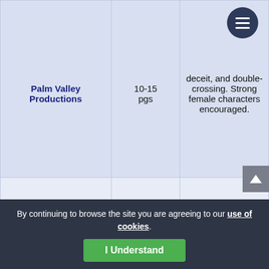| Organization | Length | Notes |
| --- | --- | --- |
| Palm Valley Productions | 10-15 pgs | deceit, and double-crossing. Strong female characters encouraged. |
| Renaissance Theater | Full Length | Women playwrights currently living in the Midwest. |
| Shakespeare in | 25 mins | Any style and genre, for an audience of all |
By continuing to browse the site you are agreeing to our use of cookies.